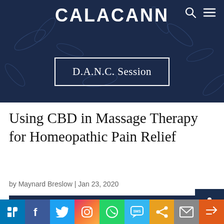CALACANN
D.A.N.C. Session
Using CBD in Massage Therapy for Homeopathic Pain Relief
by Maynard Breslow | Jan 23, 2020
[Figure (illustration): Dark navy banner with cannabis leaf background pattern and white uppercase bold text reading: THE ENTOURAGE EFFECT OF CBD AS AN ALL BODY PAIN RELIEVER]